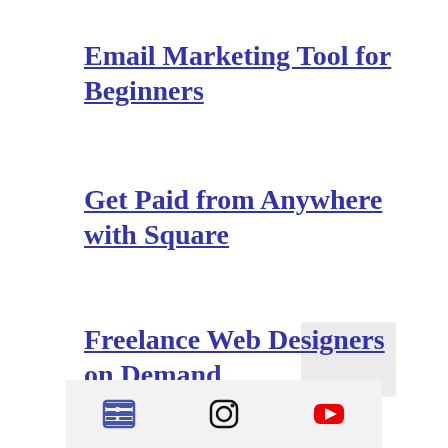Email Marketing Tool for Beginners
Get Paid from Anywhere with Square
Freelance Web Designers on Demand
Icons: list, Instagram, YouTube